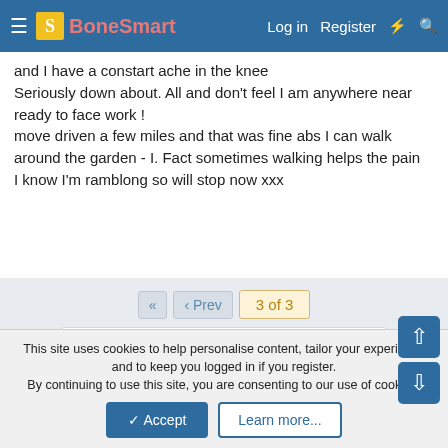BoneSmart — Log in | Register
and I have a constart ache in the knee
Seriously down about. All and don't feel I am anywhere near ready to face work !
move driven a few miles and that was fine abs I can walk around the garden - I. Fact sometimes walking helps the pain
I know I'm ramblong so will stop now xxx
◄◄  ◄ Prev   3 of 3
You must log in or register to reply here.
Similar threads
This site uses cookies to help personalise content, tailor your experience and to keep you logged in if you register.
By continuing to use this site, you are consenting to our use of cookies.
✓ Accept   Learn more...